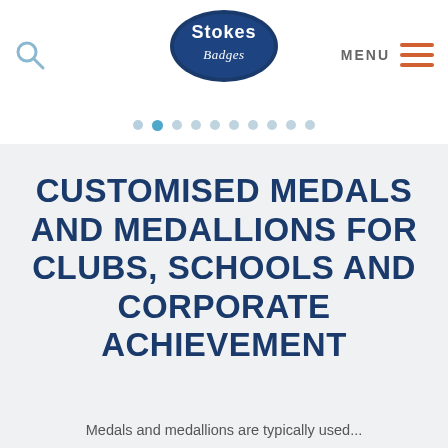[Figure (logo): Stokes Badges logo — dark blue oval with white text 'Stokes Badges' in script/sans-serif]
MENU
[Figure (other): Pagination dots — 10 dots, second dot highlighted in blue]
CUSTOMISED MEDALS AND MEDALLIONS FOR CLUBS, SCHOOLS AND CORPORATE ACHIEVEMENT
Medals and medallions are typically used...